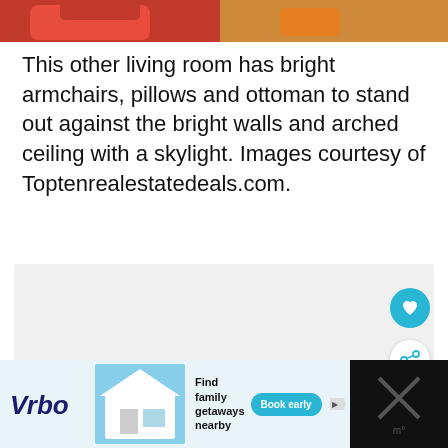[Figure (photo): Partial view of a living room with red armchairs and wooden floor, cropped at top of page]
This other living room has bright armchairs, pillows and ottoman to stand out against the bright walls and arched ceiling with a skylight. Images courtesy of Toptenrealestatedeals.com.
[Figure (other): Light gray advertisement or content area placeholder with a heart icon button and a share icon button on the right side]
[Figure (photo): Vrbo advertisement banner showing a beach house, with text 'Find family getaways nearby' and a 'Book early' button, partially visible at the bottom of the page]